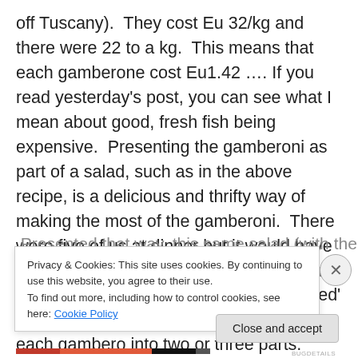off Tuscany).  They cost Eu 32/kg and there were 22 to a kg.  This means that each gamberone cost Eu1.42 …. If you read yesterday's post, you can see what I mean about good, fresh fish being expensive.  Presenting the gamberoni as part of a salad, such as in the above recipe, is a delicious and thrifty way of making the most of the gamberoni.  There were five of us at dinner but it would have been enough for six too.  Had there been even more of us, we could have 'extended' the portions, so to speak, by cutting up each gambero into two or three parts.
Presented that way, this same salad (with the addition of
Privacy & Cookies: This site uses cookies. By continuing to use this website, you agree to their use.
To find out more, including how to control cookies, see here: Cookie Policy
Close and accept
BUGDETAILS